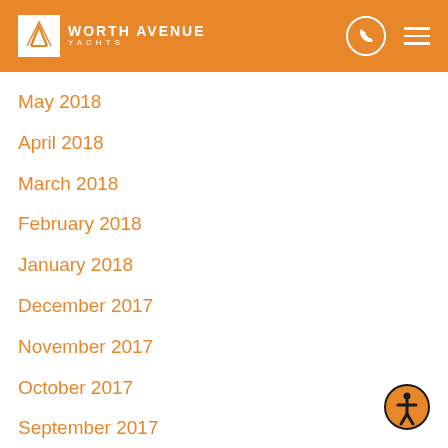[Figure (logo): Worth Avenue Yachts logo with orange header, phone icon, and hamburger menu]
May 2018
April 2018
March 2018
February 2018
January 2018
December 2017
November 2017
October 2017
September 2017
August 2017